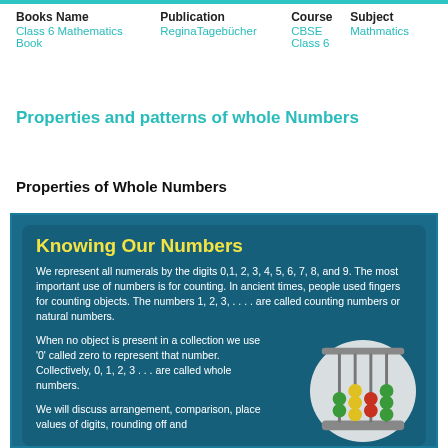| Books Name | Publication | Course | Subject |
| --- | --- | --- | --- |
| Class 6 Mathematics Book | ReginaTagebücher | CBSE Class 6 | Mathmatics |
Properties and patterns of whole Numbers
Properties of Whole Numbers
[Figure (illustration): Educational infographic panel with dark teal background. Title 'Knowing Our Numbers' in bold yellow. Text describing numerals, counting numbers, natural numbers, whole numbers (0,1,2,3...), and arrangement/comparison/place values. An abacus illustration is visible in the lower right.]